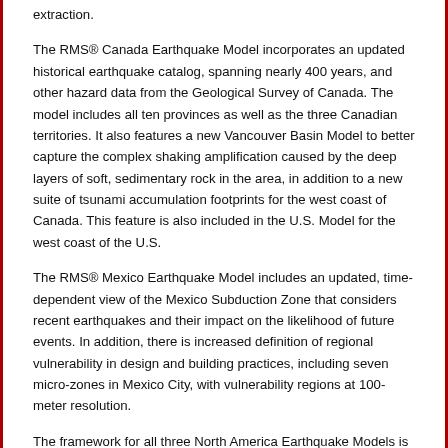extraction.
The RMS® Canada Earthquake Model incorporates an updated historical earthquake catalog, spanning nearly 400 years, and other hazard data from the Geological Survey of Canada. The model includes all ten provinces as well as the three Canadian territories. It also features a new Vancouver Basin Model to better capture the complex shaking amplification caused by the deep layers of soft, sedimentary rock in the area, in addition to a new suite of tsunami accumulation footprints for the west coast of Canada. This feature is also included in the U.S. Model for the west coast of the U.S.
The RMS® Mexico Earthquake Model includes an updated, time-dependent view of the Mexico Subduction Zone that considers recent earthquakes and their impact on the likelihood of future events. In addition, there is increased definition of regional vulnerability in design and building practices, including seven micro-zones in Mexico City, with vulnerability regions at 100-meter resolution.
The framework for all three North America Earthquake Models is consistent, to offer firms greater ability to differentiate risk across the U.S., Canada and Mexico, using the new high resolution approach to characterizing local soil conditions and their impact on ground motion amplification. RMS has also invested huge resources in an improved liquefaction model for the U.S., Canada and Mexico, that leverages...